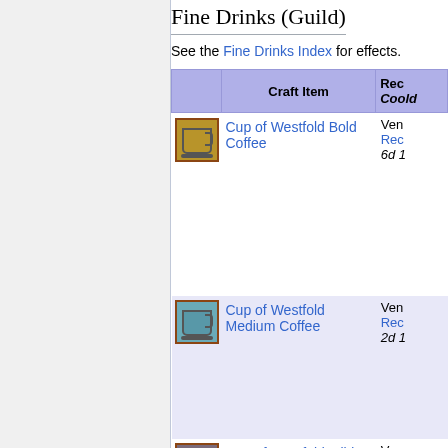Fine Drinks (Guild)
See the Fine Drinks Index for effects.
|  | Craft Item | Recipe / Cooldown |
| --- | --- | --- |
| [icon] | Cup of Westfold Bold Coffee | Vendor
Recipe
6d 1... |
| [icon] | Cup of Westfold Medium Coffee | Vendor
Recipe
2d 1... |
| [icon] | Cup of Westfold Mild Coffee | Vendor
Recipe
18... |